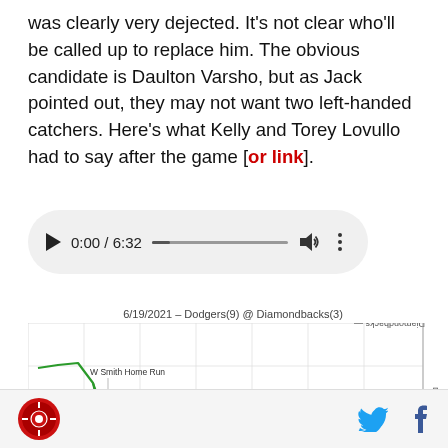was clearly very dejected. It's not clear who'll be called up to replace him. The obvious candidate is Daulton Varsho, but as Jack pointed out, they may not want two left-handed catchers. Here's what Kelly and Torey Lovullo had to say after the game [or link].
[Figure (other): Audio player widget showing 0:00 / 6:32 with play button, progress bar, volume icon, and menu dots]
[Figure (line-chart): Win probability chart showing a green line trending downward after W Smith Home Run annotation, with Diamondbacks and Dodgers labels on right axis]